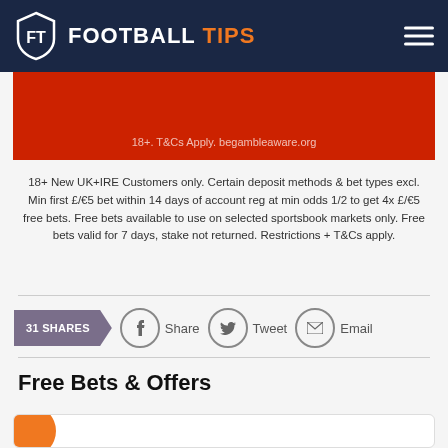FOOTBALL TIPS
[Figure (infographic): Red promotional banner with T&Cs text: 18+. T&Cs Apply. begambleaware.org]
18+ New UK+IRE Customers only. Certain deposit methods & bet types excl. Min first £/€5 bet within 14 days of account reg at min odds 1/2 to get 4x £/€5 free bets. Free bets available to use on selected sportsbook markets only. Free bets valid for 7 days, stake not returned. Restrictions + T&Cs apply.
31 SHARES   Share   Tweet   Email
Free Bets & Offers